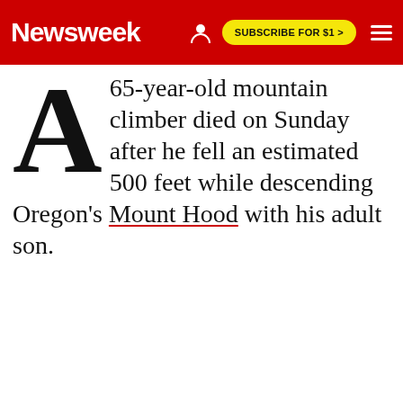Newsweek | SUBSCRIBE FOR $1 >
A 65-year-old mountain climber died on Sunday after he fell an estimated 500 feet while descending Oregon's Mount Hood with his adult son.